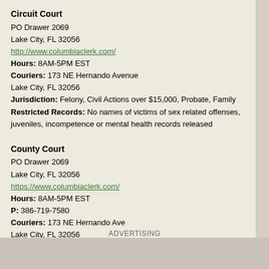Circuit Court
PO Drawer 2069
Lake City, FL 32056
http://www.columbiaclerk.com/
Hours: 8AM-5PM EST
Couriers: 173 NE Hernando Avenue
Lake City, FL 32056
Jurisdiction: Felony, Civil Actions over $15,000, Probate, Family
Restricted Records: No names of victims of sex related offenses, juveniles, incompetence or mental health records released
County Court
PO Drawer 2069
Lake City, FL 32056
https://www.columbiaclerk.com/
Hours: 8AM-5PM EST
P: 386-719-7580
Couriers: 173 NE Hernando Ave
Lake City, FL 32056
Jurisdiction: Misdemeanor, Traffic, Civil Actions under $15,000, Eviction,
ADVERTISING